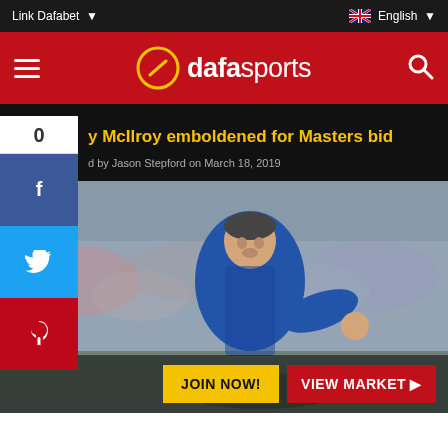Link Dafabet | English
dafasports
McIlroy emboldened for Masters bid
by Jason Stepford on March 18, 2019
[Figure (photo): Rory McIlroy in blue sweater, pumping fist, crowd in background]
JOIN NOW! VIEW MARKET ▶